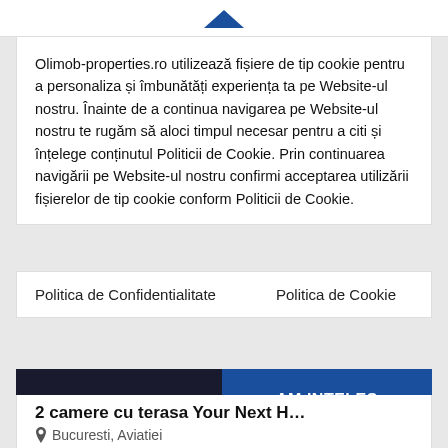Olimob-properties.ro utilizează fișiere de tip cookie pentru a personaliza și îmbunătăți experiența ta pe Website-ul nostru. Înainte de a continua navigarea pe Website-ul nostru te rugăm să aloci timpul necesar pentru a citi și înțelege conținutul Politicii de Cookie. Prin continuarea navigării pe Website-ul nostru confirmi acceptarea utilizării fișierelor de tip cookie conform Politicii de Cookie.
Politica de Confidentialitate    Politica de Cookie
AM INTELES
2 camere cu terasa Your Next H…
Bucuresti, Aviatiei
132.500€ + TVA
2 Camere    1 Baie    50 m²